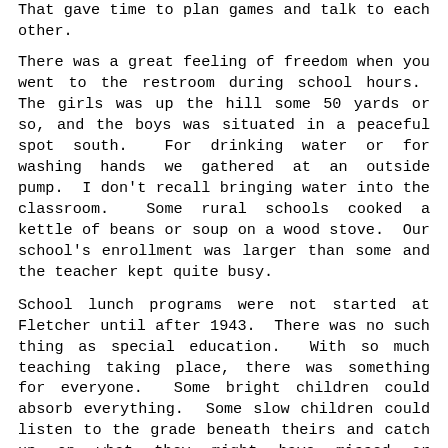That gave time to plan games and talk to each other.
There was a great feeling of freedom when you went to the restroom during school hours. The girls was up the hill some 50 yards or so, and the boys was situated in a peaceful spot south. For drinking water or for washing hands we gathered at an outside pump. I don't recall bringing water into the classroom. Some rural schools cooked a kettle of beans or soup on a wood stove. Our school's enrollment was larger than some and the teacher kept quite busy.
School lunch programs were not started at Fletcher until after 1943. There was no such thing as special education. With so much teaching taking place, there was something for everyone. Some bright children could absorb everything. Some slow children could listen to the grade beneath theirs and catch up on what they might have missed or forgotten. It was the most exciting learning experience one can imagine and progress killed it. Soon busses would roll through Fletcher and the doors of that dear school would close. The children would be transported to Grandview where children would be grouped and even sorted according to ability thus depriving the slow ones of patterns of excellence and goals.